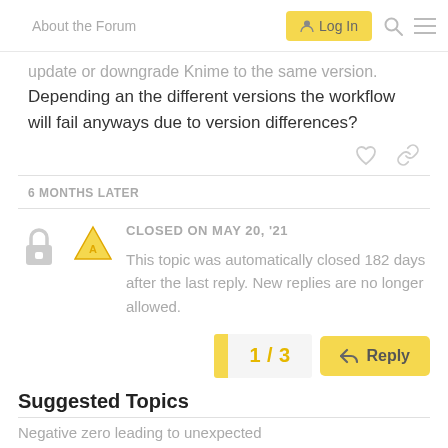About the Forum   Log In
update or downgrade Knime to the same version. Depending an the different versions the workflow will fail anyways due to version differences?
6 MONTHS LATER
CLOSED ON MAY 20, '21
This topic was automatically closed 182 days after the last reply. New replies are no longer allowed.
1 / 3
Reply
Suggested Topics
Negative zero leading to unexpected